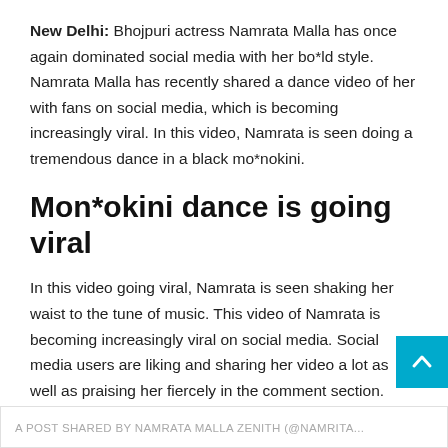New Delhi: Bhojpuri actress Namrata Malla has once again dominated social media with her bo*ld style. Namrata Malla has recently shared a dance video of her with fans on social media, which is becoming increasingly viral. In this video, Namrata is seen doing a tremendous dance in a black mo*nokini.
Mon*okini dance is going viral
In this video going viral, Namrata is seen shaking her waist to the tune of music. This video of Namrata is becoming increasingly viral on social media. Social media users are liking and sharing her video a lot as well as praising her fiercely in the comment section.
A POST SHARED BY NAMRATA MALLA ZENITH (@NAMRITA...